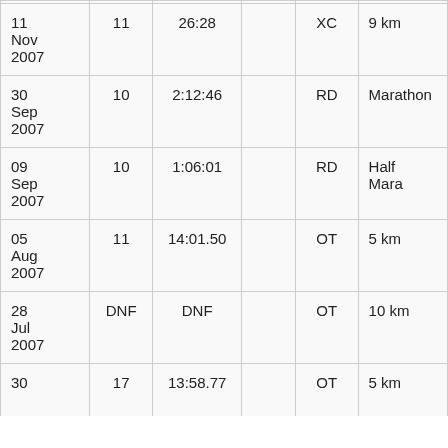| Date |  | Time |  | Type | Distance |
| --- | --- | --- | --- | --- | --- |
| 11 Nov 2007 | 11 | 26:28 |  | XC | 9 km |
| 30 Sep 2007 | 10 | 2:12:46 |  | RD | Marathon |
| 09 Sep 2007 | 10 | 1:06:01 |  | RD | Half Mara |
| 05 Aug 2007 | 11 | 14:01.50 |  | OT | 5 km |
| 28 Jul 2007 | DNF | DNF |  | OT | 10 km |
| 30 | 17 | 13:58.77 |  | OT | 5 km |